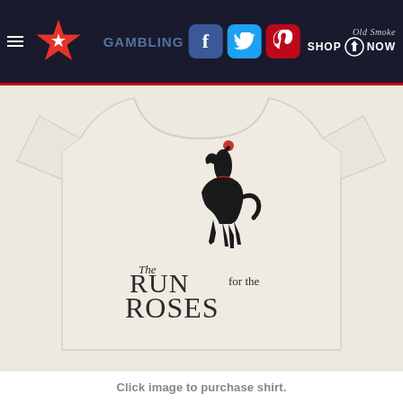Navigation bar with hamburger menu, horse racing star logo, social media icons (Facebook, Twitter, Pinterest), GAMBLING text watermark, and Old Smoke Shop Now logo
[Figure (photo): A white/cream t-shirt featuring a black silhouette of a horse and jockey with a red saddle cloth, with the text 'The Run for the Roses' in stylized serif typography. The design is centered on the shirt against a light background.]
Click image to purchase shirt.